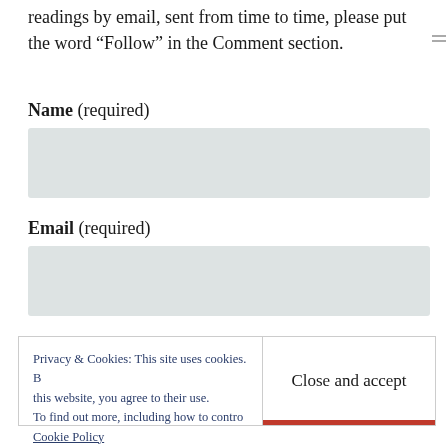readings by email, sent from time to time, please put the word “Follow” in the Comment section.
Name (required)
Email (required)
Privacy & Cookies: This site uses cookies. By continuing to use this website, you agree to their use. To find out more, including how to control cookies, see here: Cookie Policy
Close and accept